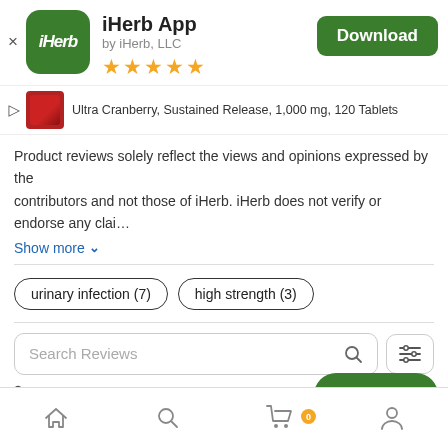[Figure (screenshot): iHerb app logo: green rounded square with white italic iHerb text]
iHerb App
by iHerb, LLC
[Figure (other): 4.5 star rating shown as 5 gold stars]
[Figure (other): Download button (green rounded rectangle)]
Ultra Cranberry, Sustained Release, 1,000 mg, 120 Tablets
Product reviews solely reflect the views and opinions expressed by the contributors and not those of iHerb. iHerb does not verify or endorse any clai…
Show more
urinary infection (7)
high strength (3)
Search Reviews
316 Reviews
[Figure (other): Add to cart green pill button]
Home | Search | Cart (0) | Account — bottom navigation bar